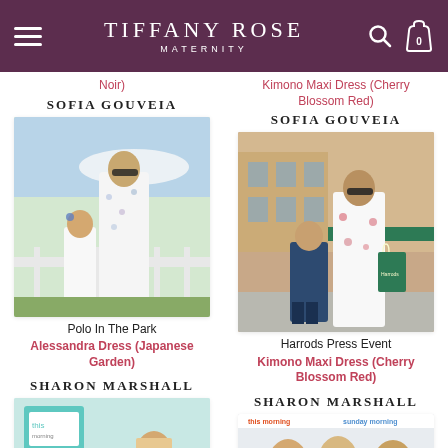TIFFANY ROSE MATERNITY
Noir)
Kimono Maxi Dress (Cherry Blossom Red)
SOFIA GOUVEIA
SOFIA GOUVEIA
[Figure (photo): Woman in white floral maternity dress with young girl at Polo In The Park outdoor event]
[Figure (photo): Woman in white floral kimono maxi dress with young girl outside Harrods, holding green Harrods bag]
Polo In The Park
Alessandra Dress (Japanese Garden)
Harrods Press Event
Kimono Maxi Dress (Cherry Blossom Red)
SHARON MARSHALL
SHARON MARSHALL
[Figure (photo): Sharon Marshall photo, partial view at bottom of page]
[Figure (photo): Sharon Marshall with two other women, partial view at bottom of page, This Morning branding visible]